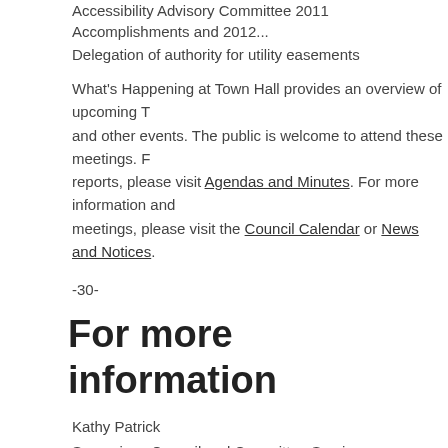Accessibility Advisory Committee 2011 Accomplishments and 2012...
Delegation of authority for utility easements
What's Happening at Town Hall provides an overview of upcoming Town Hall meetings and other events. The public is welcome to attend these meetings. For agendas and reports, please visit Agendas and Minutes. For more information and details about meetings, please visit the Council Calendar or News and Notices.
-30-
For more information
Kathy Patrick
Supervisor, Council and Committee Services
Town of Oakville
905-845-6601, ext. 4235
kpatrick@oakville.ca
Sign up for the town's RSS feeds